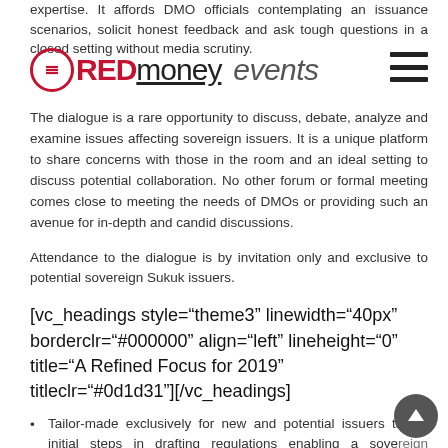expertise. It affords DMO officials contemplating an issuance scenarios, solicit honest feedback and ask tough questions in a closed setting without media scrutiny.
[Figure (logo): REDmoney events logo with red circular icon and text]
The dialogue is a rare opportunity to discuss, debate, analyze and examine issues affecting sovereign issuers. It is a unique platform to share concerns with those in the room and an ideal setting to discuss potential collaboration. No other forum or formal meeting comes close to meeting the needs of DMOs or providing such an avenue for in-depth and candid discussions.
Attendance to the dialogue is by invitation only and exclusive to potential sovereign Sukuk issuers.
[vc_headings style="theme3" linewidth="40px" borderclr="#000000" align="left" lineheight="0" title="A Refined Focus for 2019" titleclr="#0d1d31"][/vc_headings]
Tailor-made exclusively for new and potential issuers taking initial steps in drafting regulations enabling a sovereign issuance